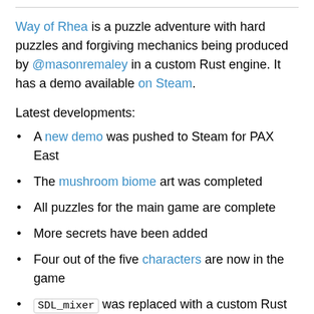Way of Rhea is a puzzle adventure with hard puzzles and forgiving mechanics being produced by @masonremaley in a custom Rust engine. It has a demo available on Steam.
Latest developments:
A new demo was pushed to Steam for PAX East
The mushroom biome art was completed
All puzzles for the main game are complete
More secrets have been added
Four out of the five characters are now in the game
SDL_mixer was replaced with a custom Rust mixer built on top of libsoundio
Numerous minor bug fixes and quality of life